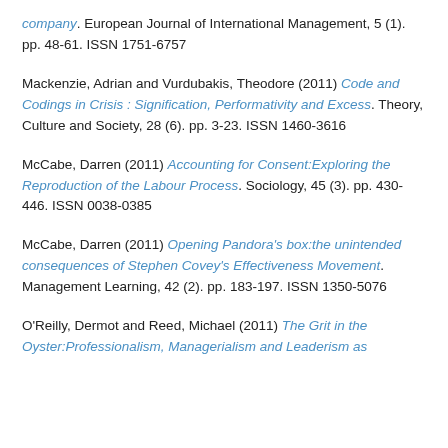company. European Journal of International Management, 5 (1). pp. 48-61. ISSN 1751-6757
Mackenzie, Adrian and Vurdubakis, Theodore (2011) Code and Codings in Crisis : Signification, Performativity and Excess. Theory, Culture and Society, 28 (6). pp. 3-23. ISSN 1460-3616
McCabe, Darren (2011) Accounting for Consent:Exploring the Reproduction of the Labour Process. Sociology, 45 (3). pp. 430-446. ISSN 0038-0385
McCabe, Darren (2011) Opening Pandora's box:the unintended consequences of Stephen Covey's Effectiveness Movement. Management Learning, 42 (2). pp. 183-197. ISSN 1350-5076
O'Reilly, Dermot and Reed, Michael (2011) The Grit in the Oyster:Professionalism, Managerialism and Leaderism as